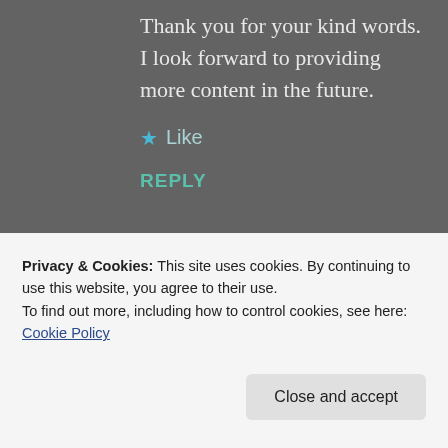Thank you for your kind words. I look forward to providing more content in the future.
★ Like
REPLY
Advertisements
[Figure (screenshot): WordPress VIP advertisement banner with coral/peach gradient background, WordPress logo circle, 'vip' text, and 'Learn more →' button]
Privacy & Cookies: This site uses cookies. By continuing to use this website, you agree to their use.
To find out more, including how to control cookies, see here: Cookie Policy
Close and accept